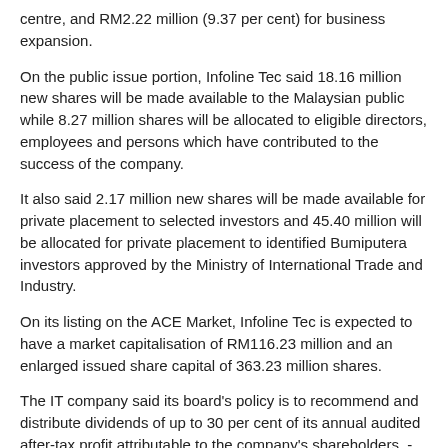centre, and RM2.22 million (9.37 per cent) for business expansion.
On the public issue portion, Infoline Tec said 18.16 million new shares will be made available to the Malaysian public while 8.27 million shares will be allocated to eligible directors, employees and persons which have contributed to the success of the company.
It also said 2.17 million new shares will be made available for private placement to selected investors and 45.40 million will be allocated for private placement to identified Bumiputera investors approved by the Ministry of International Trade and Industry.
On its listing on the ACE Market, Infoline Tec is expected to have a market capitalisation of RM116.23 million and an enlarged issued share capital of 363.23 million shares.
The IT company said its board's policy is to recommend and distribute dividends of up to 30 per cent of its annual audited after-tax profit attributable to the company's shareholders. - Bernama
〔〕〔：〔〕〔wen〔〕〔〕〔〕〔zi〕Sunbet〔